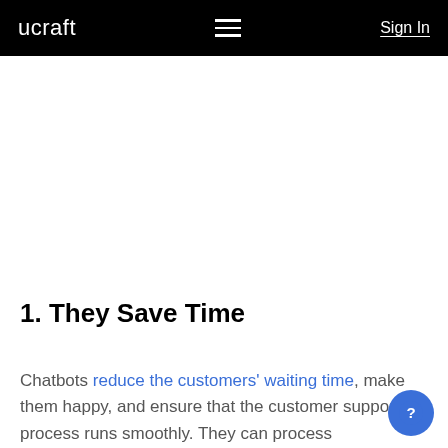ucraft  ≡  Sign In
1. They Save Time
Chatbots reduce the customers' waiting time, make them happy, and ensure that the customer support process runs smoothly. They can process